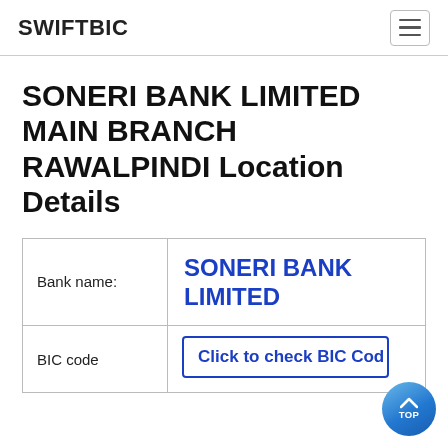SWIFTBIC
SONERI BANK LIMITED MAIN BRANCH RAWALPINDI Location Details
|  |  |
| --- | --- |
| Bank name: | SONERI BANK LIMITED |
| BIC code | Click to check BIC Code |